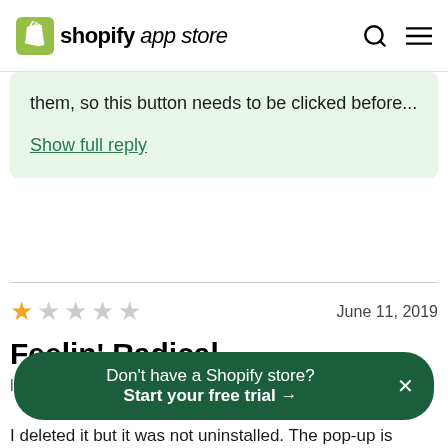shopify app store
them, so this button needs to be clicked before...
Show full reply
June 11, 2019
Feelin' Radical
Don't have a Shopify store? Start your free trial →
I deleted it but it was not uninstalled. The pop-up is